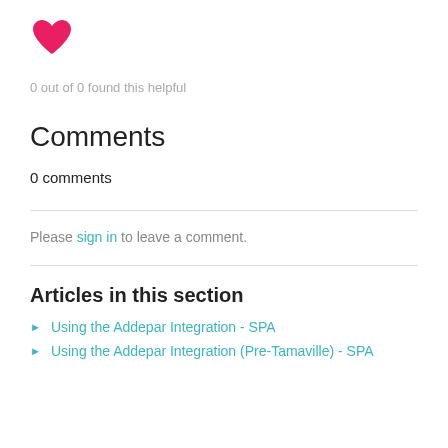[Figure (illustration): Pink/red heart icon (filled)]
0 out of 0 found this helpful
Comments
0 comments
Please sign in to leave a comment.
Articles in this section
Using the Addepar Integration - SPA
Using the Addepar Integration (Pre-Tamaville) - SPA